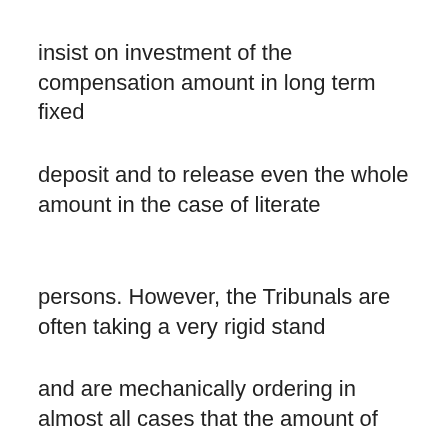insist on investment of the compensation amount in long term fixed
deposit and to release even the whole amount in the case of literate
persons. However, the Tribunals are often taking a very rigid stand
and are mechanically ordering in almost all cases that the amount of